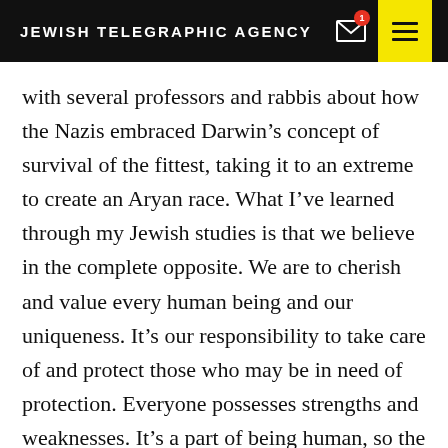JEWISH TELEGRAPHIC AGENCY
with several professors and rabbis about how the Nazis embraced Darwin’s concept of survival of the fittest, taking it to an extreme to create an Aryan race. What I’ve learned through my Jewish studies is that we believe in the complete opposite. We are to cherish and value every human being and our uniqueness. It’s our responsibility to take care of and protect those who may be in need of protection. Everyone possesses strengths and weaknesses. It’s a part of being human, so the emphasis must be on how every person has the ability to bring value and goodness into this world. No one is superior or inferior.